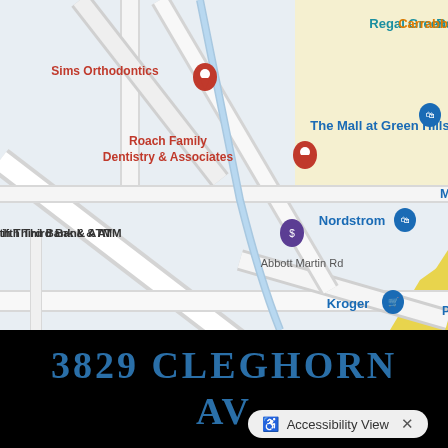[Figure (map): Google Maps screenshot showing the Green Hills area of Nashville. Visible landmarks include Sims Orthodontics, Roach Family Dentistry & Associates, Fifth Third Bank & ATM, The Mall at Green Hills, Regal Green Hills, Carrabba's, Nordstrom, Mac (truncated), Abbott Martin Rd, Kroger, Parna (truncated), Village Green Hills, Green Hills Center for Rehabilitation and..., Trader Joe's, True Food Kitche (truncated), Hill Center Green H (truncated).]
3829 CLEGHORN AV
Accessibility View  ×